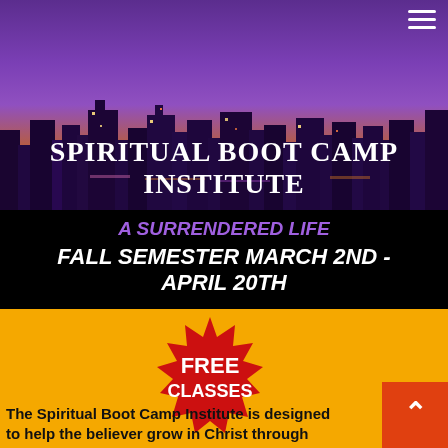[Figure (photo): City skyline at night with purple and orange hues, used as banner background for the Spiritual Boot Camp Institute]
SPIRITUAL BOOT CAMP INSTITUTE
A SURRENDERED LIFE
FALL SEMESTER MARCH 2ND - APRIL 20TH
[Figure (infographic): Red starburst badge with white text reading FREE CLASSES]
The Spiritual Boot Camp Institute is designed to help the believer grow in Christ through